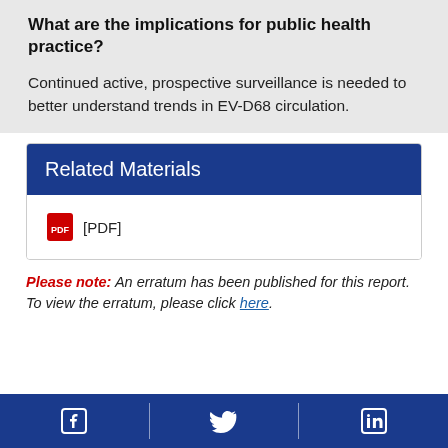What are the implications for public health practice?
Continued active, prospective surveillance is needed to better understand trends in EV-D68 circulation.
Related Materials
[PDF]
Please note: An erratum has been published for this report. To view the erratum, please click here.
Facebook | Twitter | LinkedIn